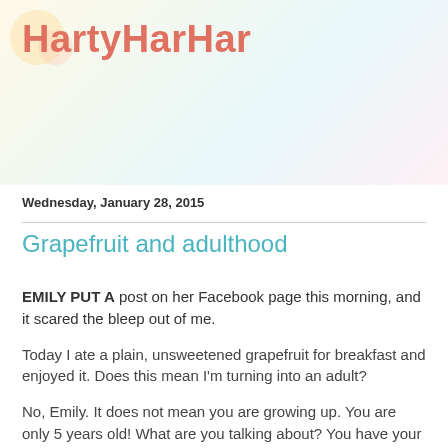HartyHarHar
Wednesday, January 28, 2015
Grapefruit and adulthood
EMILY PUT A post on her Facebook page this morning, and it scared the bleep out of me.
Today I ate a plain, unsweetened grapefruit for breakfast and enjoyed it. Does this mean I'm turning into an adult?
No, Emily. It does not mean you are growing up. You are only 5 years old! What are you talking about? You have your whole life in front of you to eat whole foods, grass-fed beef and gluten-free pasta.
What's that? You aren't 5? What happened, did I blink?